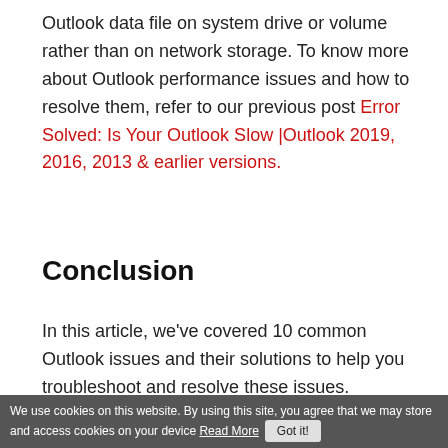Outlook data file on system drive or volume rather than on network storage. To know more about Outlook performance issues and how to resolve them, refer to our previous post Error Solved: Is Your Outlook Slow |Outlook 2019, 2016, 2013 & earlier versions.
Conclusion
In this article, we've covered 10 common Outlook issues and their solutions to help you troubleshoot and resolve these issues. However, there are several other not so common Outlook issues that we haven't covered in this post. In cases like these, you might need different tools.
We use cookies on this website. By using this site, you agree that we may store and access cookies on your device Read More  Got it!